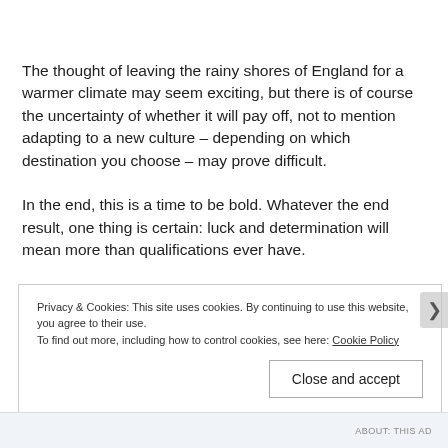The thought of leaving the rainy shores of England for a warmer climate may seem exciting, but there is of course the uncertainty of whether it will pay off, not to mention adapting to a new culture – depending on which destination you choose – may prove difficult.
In the end, this is a time to be bold. Whatever the end result, one thing is certain: luck and determination will mean more than qualifications ever have.
Privacy & Cookies: This site uses cookies. By continuing to use this website, you agree to their use.
To find out more, including how to control cookies, see here: Cookie Policy
Close and accept